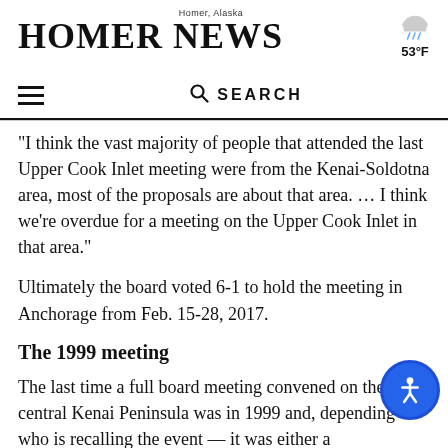Homer News — Homer, Alaska — 53°F
“I think the vast majority of people that attended the last Upper Cook Inlet meeting were from the Kenai-Soldotna area, most of the proposals are about that area. … I think we’re overdue for a meeting on the Upper Cook Inlet in that area.”
Ultimately the board voted 6-1 to hold the meeting in Anchorage from Feb. 15-28, 2017.
The 1999 meeting
The last time a full board meeting convened on the central Kenai Peninsula was in 1999 and, depending on who is recalling the event — it was either a